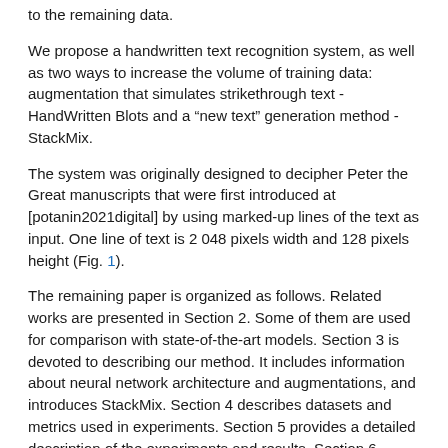to the remaining data.
We propose a handwritten text recognition system, as well as two ways to increase the volume of training data: augmentation that simulates strikethrough text - HandWritten Blots and a "new text" generation method - StackMix.
The system was originally designed to decipher Peter the Great manuscripts that were first introduced at [potanin2021digital] by using marked-up lines of the text as input. One line of text is 2 048 pixels width and 128 pixels height (Fig. 1).
The remaining paper is organized as follows. Related works are presented in Section 2. Some of them are used for comparison with state-of-the-art models. Section 3 is devoted to describing our method. It includes information about neural network architecture and augmentations, and introduces StackMix. Section 4 describes datasets and metrics used in experiments. Section 5 provides a detailed description of the experiments and results. Section 6 concludes the paper.